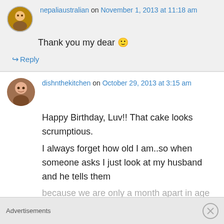nepaliaustralian on November 1, 2013 at 11:18 am
Thank you my dear 🙂
↳ Reply
dishnthekitchen on October 29, 2013 at 3:15 am
Happy Birthday, Luv!! That cake looks scrumptious.
I always forget how old I am..so when someone asks I just look at my husband and he tells them because we are only a month apart in age and
Advertisements